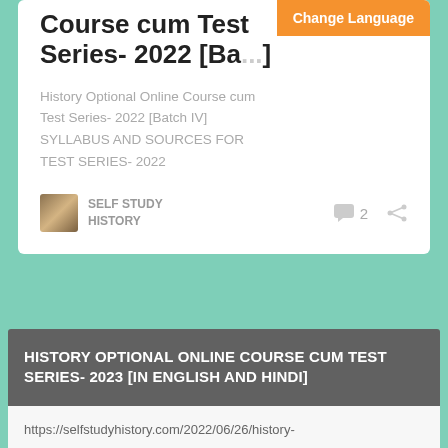Course cum Test Series- 2022 [Ba...]
History Optional Online Course cum Test Series- 2022 [Batch IV] SYLLABUS AND SOURCES FOR TEST SERIES- 2022
SELF STUDY HISTORY
2
HISTORY OPTIONAL ONLINE COURSE CUM TEST SERIES- 2023 [IN ENGLISH AND HINDI]
https://selfstudyhistory.com/2022/06/26/history-